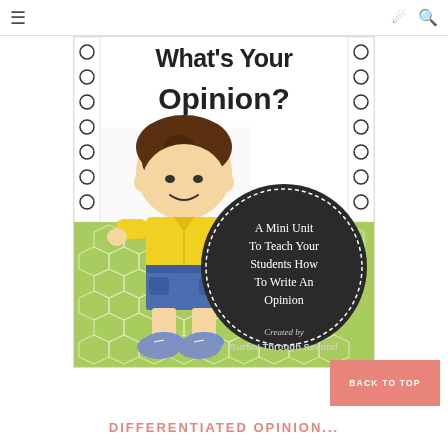Navigation bar with menu, share, and search icons
[Figure (illustration): Educational product cover for 'What's Your Opinion?' showing a cartoon boy in yellow shirt and blue shorts on green geometric patterned background, with title text and a dark circle containing 'A Mini Unit To Teach Your Students How To Write An Opinion', created by Surfin' Through Second]
BACK TO TOP
DIFFERENTIATED OPINION...